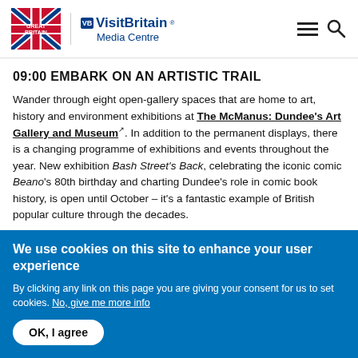Great Britain | VisitBritain Media Centre
09:00 EMBARK ON AN ARTISTIC TRAIL
Wander through eight open-gallery spaces that are home to art, history and environment exhibitions at The McManus: Dundee's Art Gallery and Museum. In addition to the permanent displays, there is a changing programme of exhibitions and events throughout the year. New exhibition Bash Street's Back, celebrating the iconic comic Beano's 80th birthday and charting Dundee's role in comic book history, is open until October – it's a fantastic example of British popular culture through the decades.
We use cookies on this site to enhance your user experience
By clicking any link on this page you are giving your consent for us to set cookies. No, give me more info
OK, I agree